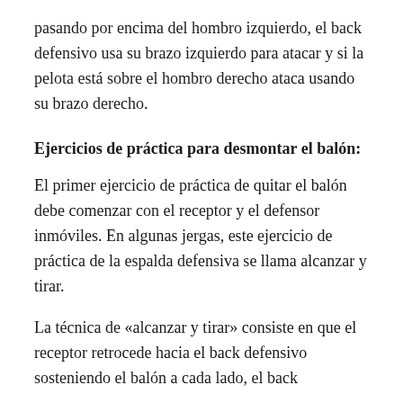pasando por encima del hombro izquierdo, el back defensivo usa su brazo izquierdo para atacar y si la pelota está sobre el hombro derecho ataca usando su brazo derecho.
Ejercicios de práctica para desmontar el balón:
El primer ejercicio de práctica de quitar el balón debe comenzar con el receptor y el defensor inmóviles. En algunas jergas, este ejercicio de práctica de la espalda defensiva se llama alcanzar y tirar.
La técnica de «alcanzar y tirar» consiste en que el receptor retrocede hacia el back defensivo sosteniendo el balón a cada lado, el back defensivo practica la flexión iniciada de la...